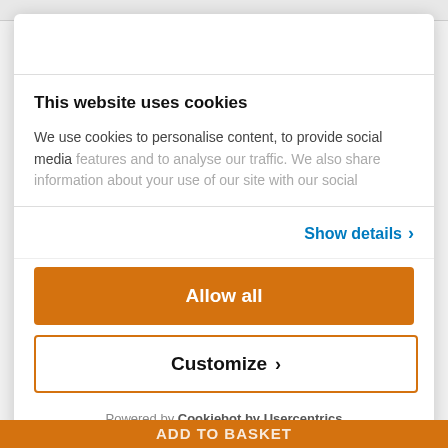This website uses cookies
We use cookies to personalise content, to provide social media features and to analyse our traffic. We also share information about your use of our site with our social
Show details ›
Allow all
Customize ›
Powered by Cookiebot by Usercentrics
ADD TO BASKET